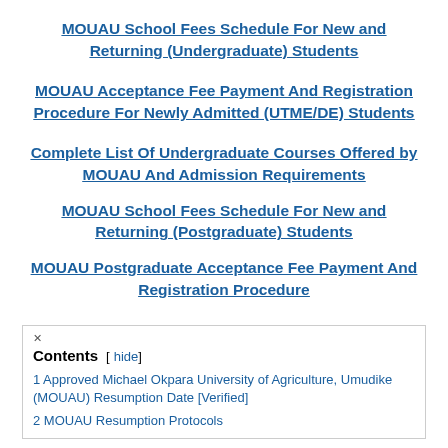MOUAU School Fees Schedule For New and Returning (Undergraduate) Students
MOUAU Acceptance Fee Payment And Registration Procedure For Newly Admitted (UTME/DE) Students
Complete List Of Undergraduate Courses Offered by MOUAU And Admission Requirements
MOUAU School Fees Schedule For New and Returning (Postgraduate) Students
MOUAU Postgraduate Acceptance Fee Payment And Registration Procedure
Contents [hide]
1 Approved Michael Okpara University of Agriculture, Umudike (MOUAU) Resumption Date [Verified]
2 MOUAU Resumption Protocols